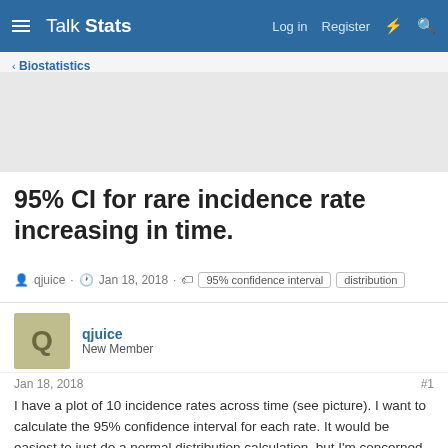Talk Stats | Log in  Register
< Biostatistics
95% CI for rare incidence rate increasing in time.
qjuice · Jan 18, 2018 · 95% confidence interval  distribution
qjuice
New Member
Jan 18, 2018  #1
I have a plot of 10 incidence rates across time (see picture). I want to calculate the 95% confidence interval for each rate. It would be easiest to just do a normal distribution calculation, but I'm concerned this is not applicable here. For one, they are rare